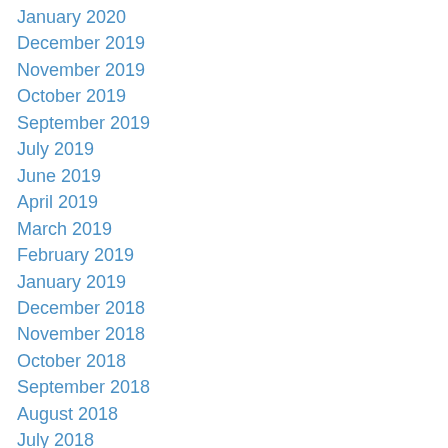January 2020
December 2019
November 2019
October 2019
September 2019
July 2019
June 2019
April 2019
March 2019
February 2019
January 2019
December 2018
November 2018
October 2018
September 2018
August 2018
July 2018
June 2018
April 2018
March 2018